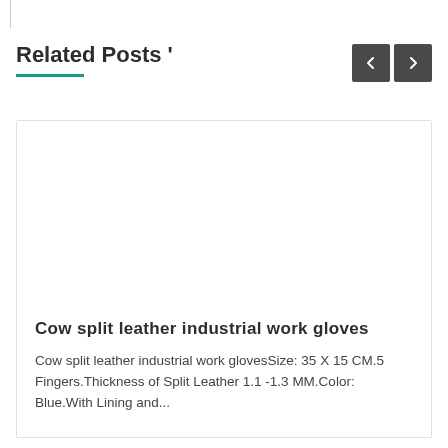Related Posts '
[Figure (other): Product card image area (blank/white)]
Cow split leather industrial work gloves
Cow split leather industrial work glovesSize: 35 X 15 CM.5 Fingers.Thickness of Split Leather 1.1 -1.3 MM.Color: Blue.With Lining and...